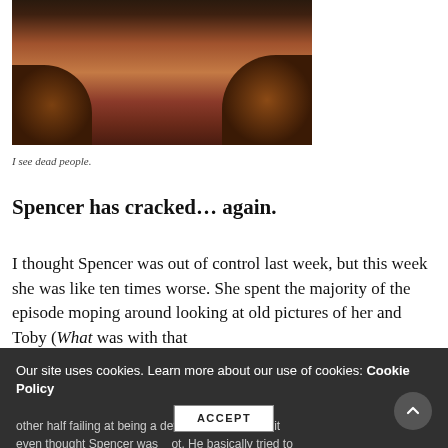[Figure (photo): Close-up photo of a woman's face and hair, dimly lit with warm reddish-brown tones, appearing to be from a TV show still.]
I see dead people.
Spencer has cracked... again.
I thought Spencer was out of control last week, but this week she was like ten times worse. She spent the majority of the episode moping around looking at old pictures of her and Toby (What was with that absolutely crafted Valentine's? Who does that?), and the other half failing at being a detective. Miles Corwit even thought Spencer was a dot. He basically tried to
Our site uses cookies. Learn more about our use of cookies: Cookie Policy